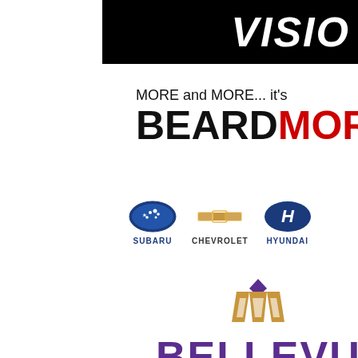[Figure (logo): Black header bar with italic bold white text 'VISIO' (partially cropped)]
[Figure (logo): BeardMore dealership logo: 'MORE and MORE... it's' above 'BEARDMORE' in black and red bold text]
[Figure (logo): Subaru logo (blue oval with stars) and SUBARU text]
[Figure (logo): Chevrolet bowtie logo (gold) and CHEVROLET text]
[Figure (logo): Hyundai H logo (blue oval) and HYUNDAI text]
[Figure (logo): Bellevue University logo: gold and purple crest symbol above BELLEVUE UNIVERSITY text in purple]